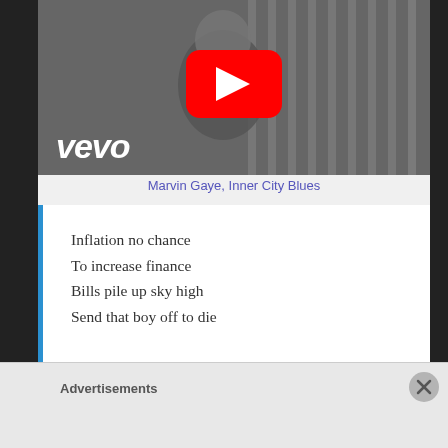[Figure (screenshot): YouTube/Vevo video thumbnail showing a black and white photo of a young boy with arms crossed, with the YouTube play button overlay and 'vevo' branding in the lower left]
Marvin Gaye, Inner City Blues
Inflation no chance
To increase finance
Bills pile up sky high
Send that boy off to die
Advertisements